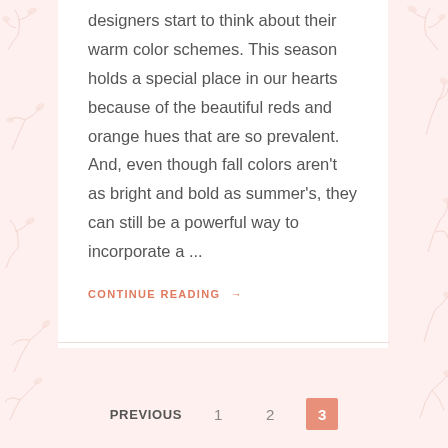designers start to think about their warm color schemes. This season holds a special place in our hearts because of the beautiful reds and orange hues that are so prevalent. And, even though fall colors aren't as bright and bold as summer's, they can still be a powerful way to incorporate a ...
CONTINUE READING →
PREVIOUS  1  2  3